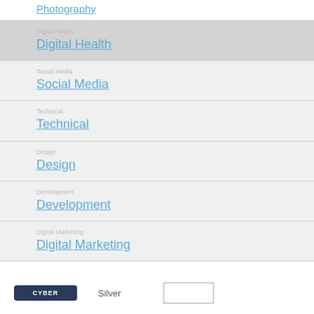Photography
Digital Health
Social Media
Technical
Design
Development
Digital Marketing
Silver